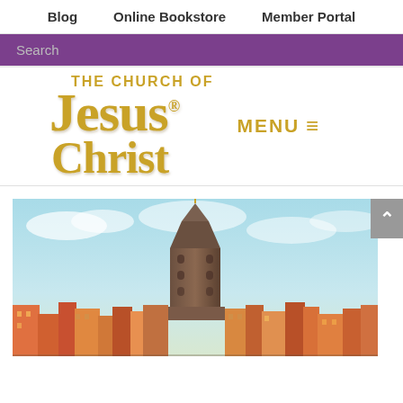Blog   Online Bookstore   Member Portal
Search
[Figure (logo): The Church of Jesus Christ logo in gold serif lettering with registered trademark symbol]
MENU ≡
[Figure (photo): Cityscape photo showing the Galata Tower in Istanbul with colorful buildings in the foreground and a light blue sky with clouds]